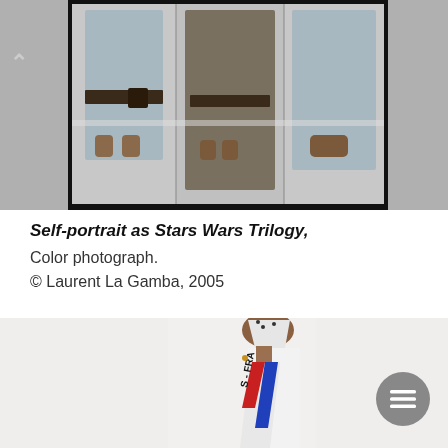[Figure (photo): Three men in Star Wars-style costumes photographed from the waist down and mid-torso, wearing robes and belts, shown in a composite photograph with a black border, partially cropped at top of page.]
Self-portrait as Stars Wars Trilogy,
Color photograph.
© Laurent La Gamba, 2005
[Figure (photo): Two men wearing white beauty queen-style hats and French tricolor sashes reading 'S - FRA' (Miss France sashes), photographed from the waist up against a white background. The image is cropped at the bottom of the page.]